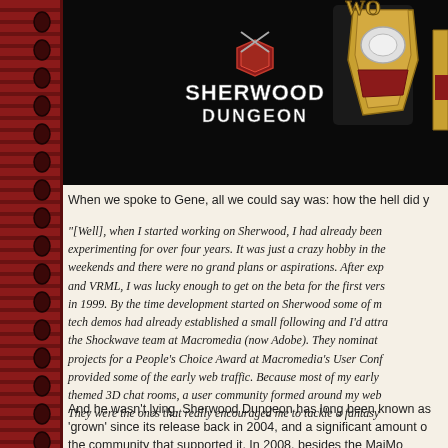[Figure (screenshot): Sherwood Dungeon game screenshot with logo on black background showing armored character boots/legs in gold and red]
When we spoke to Gene, all we could say was: how the hell did y
[Well], when I started working on Sherwood, I had already been experimenting for over four years. It was just a crazy hobby in the weekends and there were no grand plans or aspirations. After exp and VRML, I was lucky enough to get on the beta for the first vers in 1999. By the time development started on Sherwood some of m tech demos had already established a small following and I'd attra the Shockwave team at Macromedia (now Adobe). They nominat projects for a People's Choice Award at Macromedia's User Conf provided some of the early web traffic. Because most of my early themed 3D chat rooms, a user community formed around my web They were the ones that really encouraged me to tackle a fantasy
And he wasn't lying. Sherwood Dungeon has long been known as 'grown' since its release back in 2004, and a significant amount o the community that supported it. In 2008, besides the MajMo